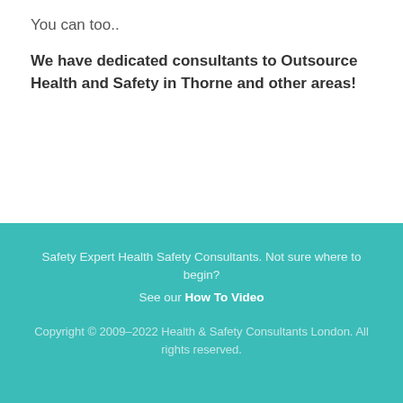You can too..
We have dedicated consultants to Outsource Health and Safety in Thorne and other areas!
Safety Expert Health Safety Consultants. Not sure where to begin? See our How To Video
Copyright © 2009–2022 Health & Safety Consultants London. All rights reserved.